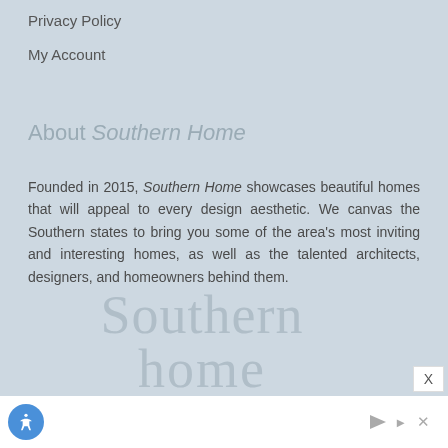Privacy Policy
My Account
About Southern Home
Founded in 2015, Southern Home showcases beautiful homes that will appeal to every design aesthetic. We canvas the Southern states to bring you some of the area's most inviting and interesting homes, as well as the talented architects, designers, and homeowners behind them.
[Figure (logo): Southern Home magazine logo in large serif text, light gray color]